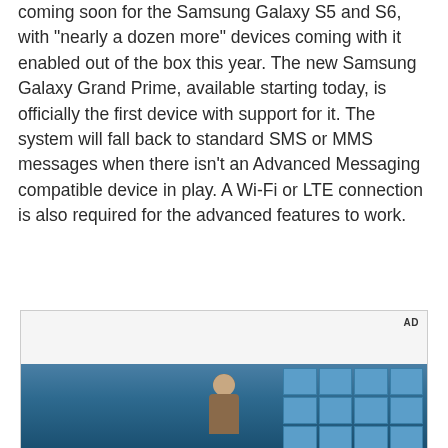coming soon for the Samsung Galaxy S5 and S6, with "nearly a dozen more" devices coming with it enabled out of the box this year. The new Samsung Galaxy Grand Prime, available starting today, is officially the first device with support for it. The system will fall back to standard SMS or MMS messages when there isn't an Advanced Messaging compatible device in play. A Wi-Fi or LTE connection is also required for the advanced features to work.
[Figure (photo): Advertisement box with 'AD' label, grey background area, and a photo of a young man with curly hair against a blue grid-window background]